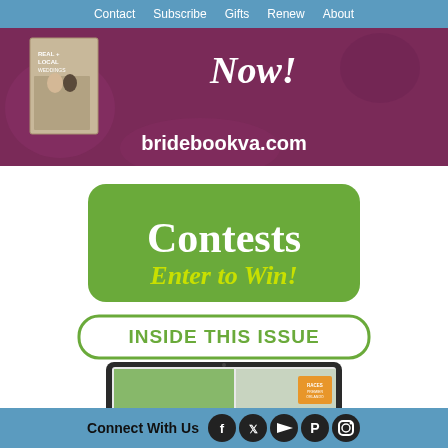Contact  Subscribe  Gifts  Renew  About
[Figure (illustration): Wedding magazine promotion banner with purple/maroon background, magazine cover showing couple, cursive 'Now!' text, and bridebookva.com URL in white bold text]
[Figure (illustration): Green rounded rectangle button with white bold text 'Contests' and yellow-green italic text 'Enter to Win!']
[Figure (illustration): White rounded rectangle button with green border and green bold text 'INSIDE THIS ISSUE']
[Figure (screenshot): Tablet device showing magazine content inside]
Connect With Us [Facebook] [Twitter] [YouTube] [Pinterest] [Instagram]